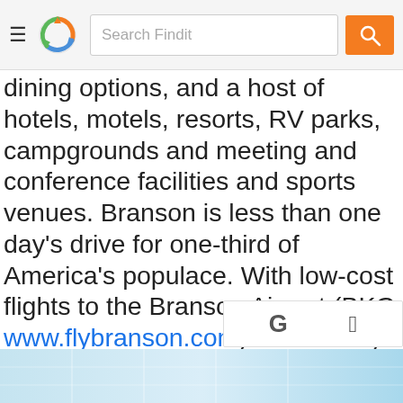Search Findit (header bar with hamburger menu, logo, search box, search button)
dining options, and a host of hotels, motels, resorts, RV parks, campgrounds and meeting and conference facilities and sports venues. Branson is less than one day's drive for one-third of America's populace. With low-cost flights to the Branson Airport (BKG www.flybranson.com) and nearby Springfield-Branson National Airport (SGF), it has never been easier to access Branson. Call 1-800-296-0463 for help planning your next vacation, convention, sports event, or reunion. https://www.explorebranson.c
[Figure (screenshot): Bottom strip showing a building image (partial, cut off) in light blue tones, and a small popup bar with Google G logo and Apple logo on the right side]